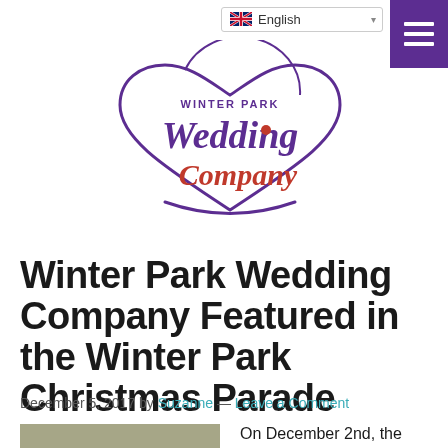English
[Figure (logo): Winter Park Wedding Company logo — cursive purple and pink lettering with a heart shape outline]
Winter Park Wedding Company Featured in the Winter Park Christmas Parade
December 5, 2017 by Suzanne — Leave a Comment
On December 2nd, the Winter
[Figure (photo): Outdoor photo thumbnail at bottom left]